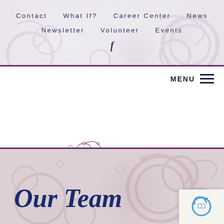Contact   What If?   Career Center   News   Newsletter   Volunteer   Events   f
[Figure (logo): Brookestone Gardens logo with decorative swirl above the 'oo' in Brookestone and cursive 'Gardens' text below in navy blue]
MENU ≡
Our Team
[Figure (other): reCAPTCHA widget partially visible in bottom right corner]